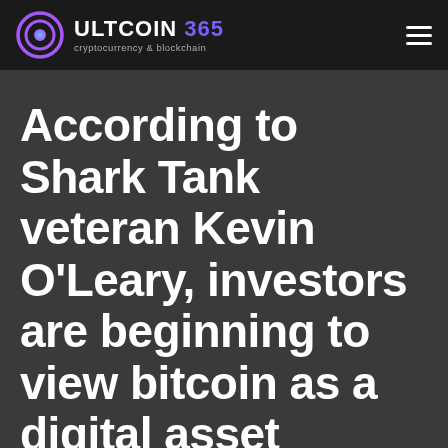ULTCOIN 365 — cryptocurrency & blockchain
According to Shark Tank veteran Kevin O'Leary, investors are beginning to view bitcoin as a digital asset